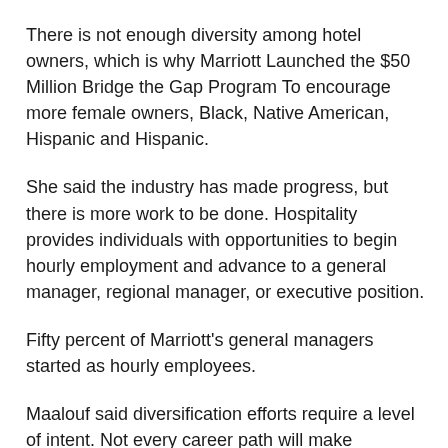There is not enough diversity among hotel owners, which is why Marriott Launched the $50 Million Bridge the Gap Program To encourage more female owners, Black, Native American, Hispanic and Hispanic.
She said the industry has made progress, but there is more work to be done. Hospitality provides individuals with opportunities to begin hourly employment and advance to a general manager, regional manager, or executive position.
Fifty percent of Marriott's general managers started as hourly employees.
Maalouf said diversification efforts require a level of intent. Not every career path will make someone at the top, so it's important to learn about some key experiences in finance,